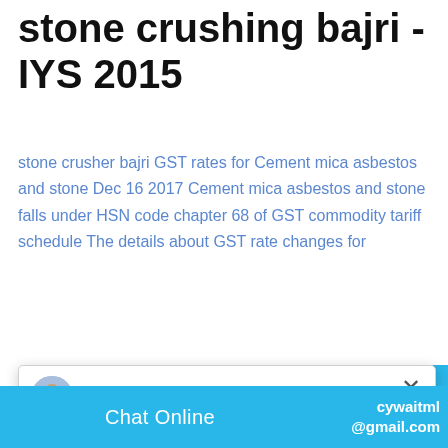stone crushing bajri - IYS 2015
stone crusher bajri GST rates for Cement mica asbestos and stone Dec 16 2017 Cement mica asbestos and stone falls under HSN code chapter 68 of GST commodity tariff schedule The details about GST rate changes for
[Figure (screenshot): Chat popup with avatar of agent named 'Even', close button (×), and message: Hello, I am Even, I am very glad to talk with you!]
[Figure (screenshot): Blue 'Get Quote' button]
[Figure (photo): Stone crushing machinery / bajri equipment photo]
[Figure (screenshot): Right side cyan panel with chat badge showing '1', 'Click me to chat >>' button, and Enquiry section]
Chat Online   cywaitml@gmail.com